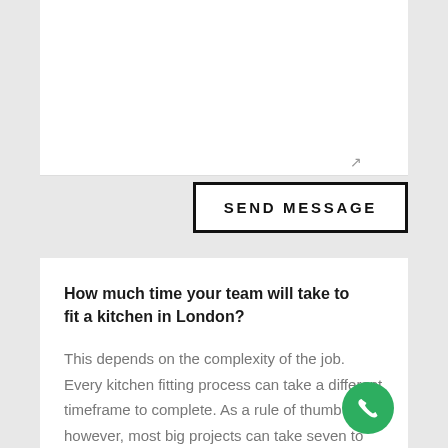[Figure (screenshot): White textarea input box with resize handle in bottom-right corner]
SEND MESSAGE
How much time your team will take to fit a kitchen in London?
This depends on the complexity of the job. Every kitchen fitting process can take a different timeframe to complete. As a rule of thumb however, most big projects can take seven to eight days to finish and smaller jobs can roughly take two to three days.